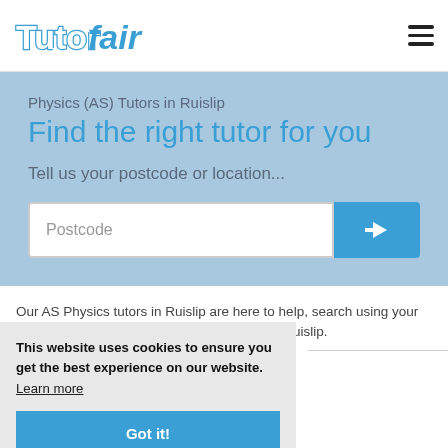TutorFair
Physics (AS) Tutors in Ruislip
Find the right tutor for you
Tell us your postcode or location...
Postcode
Our AS Physics tutors in Ruislip are here to help, search using your postcode to find the best AS Physics tutor in Ruislip.
This website uses cookies to ensure you get the best experience on our website.  Learn more
Got it!
Bij M